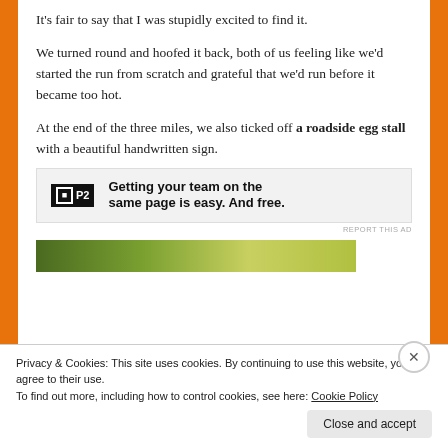It's fair to say that I was stupidly excited to find it.
We turned round and hoofed it back, both of us feeling like we'd started the run from scratch and grateful that we'd run before it became too hot.
At the end of the three miles, we also ticked off a roadside egg stall with a beautiful handwritten sign.
[Figure (infographic): P2 advertisement banner: logo with 'P2' text and bold headline 'Getting your team on the same page is easy. And free.']
[Figure (photo): Partial photo strip showing greenery/outdoor scene at bottom of content area]
Privacy & Cookies: This site uses cookies. By continuing to use this website, you agree to their use.
To find out more, including how to control cookies, see here: Cookie Policy
Close and accept